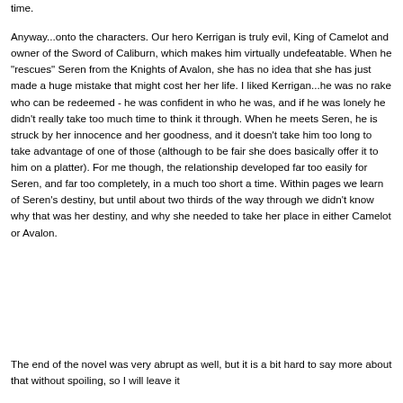time.
Anyway...onto the characters. Our hero Kerrigan is truly evil, King of Camelot and owner of the Sword of Caliburn, which makes him virtually undefeatable. When he "rescues" Seren from the Knights of Avalon, she has no idea that she has just made a huge mistake that might cost her her life. I liked Kerrigan...he was no rake who can be redeemed - he was confident in who he was, and if he was lonely he didn't really take too much time to think it through. When he meets Seren, he is struck by her innocence and her goodness, and it doesn't take him too long to take advantage of one of those (although to be fair she does basically offer it to him on a platter). For me though, the relationship developed far too easily for Seren, and far too completely, in a much too short a time. Within pages we learn of Seren's destiny, but until about two thirds of the way through we didn't know why that was her destiny, and why she needed to take her place in either Camelot or Avalon.
The end of the novel was very abrupt as well, but it is a bit hard to say more about that without spoiling, so I will leave it